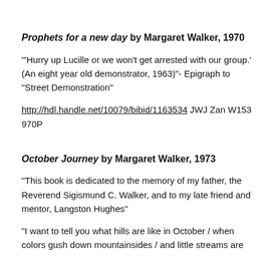Prophets for a new day by Margaret Walker, 1970
"'Hurry up Lucille or we won't get arrested with our group.' (An eight year old demonstrator, 1963)" - Epigraph to "Street Demonstration"
http://hdl.handle.net/10079/bibid/1163534 JWJ Zan W153 970P
October Journey by Margaret Walker, 1973
"This book is dedicated to the memory of my father, the Reverend Sigismund C. Walker, and to my late friend and mentor, Langston Hughes"
"I want to tell you what hills are like in October / when colors gush down mountainsides / and little streams are